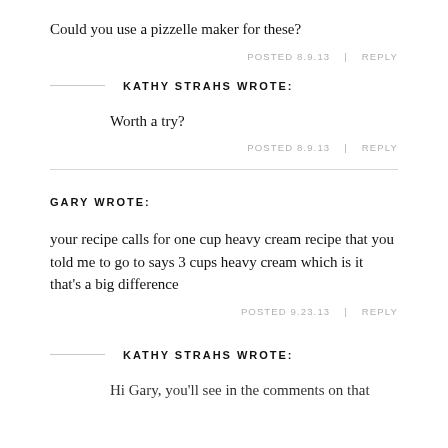Could you use a pizzelle maker for these?
POSTED 8.9.13  |  REPLY
KATHY STRAHS WROTE:
Worth a try?
POSTED 8.9.13  |  REPLY
GARY WROTE:
your recipe calls for one cup heavy cream recipe that you told me to go to says 3 cups heavy cream which is it that's a big difference
POSTED 9.23.13  |  REPLY
KATHY STRAHS WROTE:
Hi Gary, you'll see in the comments on that